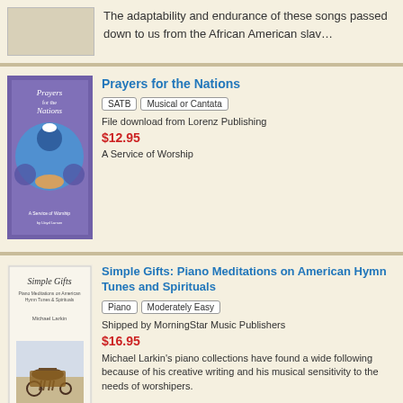The adaptability and endurance of these songs passed down to us from the African American slav…
Prayers for the Nations
SATB
Musical or Cantata
File download from Lorenz Publishing
$12.95
A Service of Worship
Simple Gifts: Piano Meditations on American Hymn Tunes and Spirituals
Piano
Moderately Easy
Shipped by MorningStar Music Publishers
$16.95
Michael Larkin's piano collections have found a wide following because of his creative writing and his musical sensitivity to the needs of worshipers.
SPIRITUALS FOR TWO VOICES
Vocal Solo/Duet
Sheet Music
Shipped by Hope Publishing
$22.95